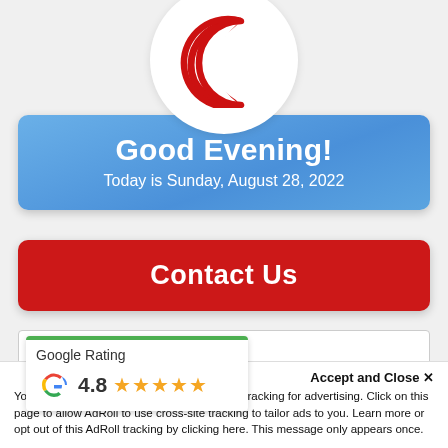[Figure (illustration): Red crescent/moon icon on a white circular background, partially visible at top]
Good Evening!
Today is Sunday, August 28, 2022
Contact Us
[Figure (other): Google Rating widget showing Google logo G and star rating, partially visible. Rating approximately 4.8 stars.]
Accept and Close ✕
Your browser settings do not allow cross-site tracking for advertising. Click on this page to allow AdRoll to use cross-site tracking to tailor ads to you. Learn more or opt out of this AdRoll tracking by clicking here. This message only appears once.